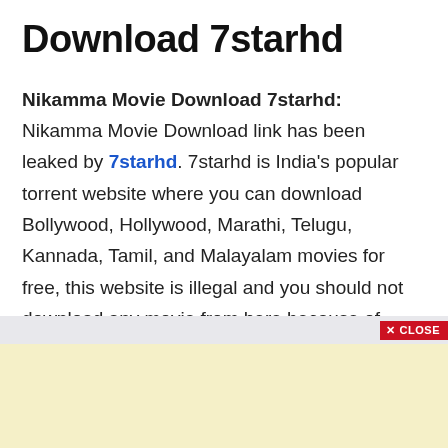Download 7starhd
Nikamma Movie Download 7starhd: Nikamma Movie Download link has been leaked by 7starhd. 7starhd is India's popular torrent website where you can download Bollywood, Hollywood, Marathi, Telugu, Kannada, Tamil, and Malayalam movies for free, this website is illegal and you should not download any movie from here because of piracy of movies.
[Figure (screenshot): Close button bar with red CLOSE button at bottom of content area]
[Figure (other): Light yellow advertisement area at bottom of page]